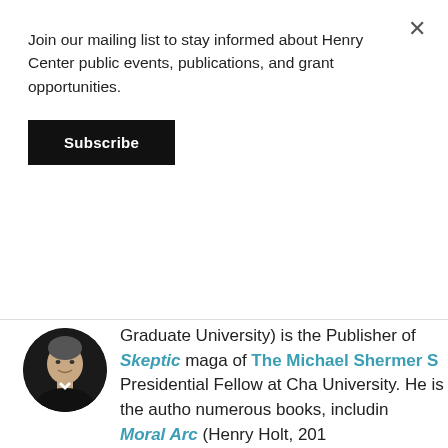Join our mailing list to stay informed about Henry Center public events, publications, and grant opportunities.
Subscribe
[Figure (photo): Circular headshot photo of a man in dark clothing, smiling, against a dark background]
Graduate University) is the Publisher of Skeptic magazine, of The Michael Shermer S... Presidential Fellow at Cha... University. He is the autho... numerous books, includin... Moral Arc (Henry Holt, 201... Heavens on Earth (Henry H... and Giving the Devil His Due (Cambridge University... 2020)...